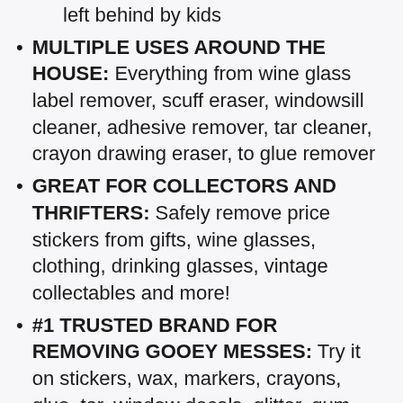left behind by kids
MULTIPLE USES AROUND THE HOUSE: Everything from wine glass label remover, scuff eraser, windowsill cleaner, adhesive remover, tar cleaner, crayon drawing eraser, to glue remover
GREAT FOR COLLECTORS AND THRIFTERS: Safely remove price stickers from gifts, wine glasses, clothing, drinking glasses, vintage collectables and more!
#1 TRUSTED BRAND FOR REMOVING GOOEY MESSES: Try it on stickers, wax, markers, crayons, glue, tar, window decals, glitter, gum, labels and so much more